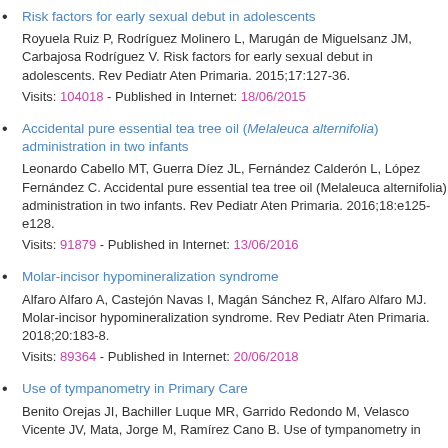Risk factors for early sexual debut in adolescents
Royuela Ruiz P, Rodríguez Molinero L, Marugán de Miguelsanz JM, Carbajosa Rodríguez V. Risk factors for early sexual debut in adolescents. Rev Pediatr Aten Primaria. 2015;17:127-36.
Visits: 104018 - Published in Internet: 18/06/2015
Accidental pure essential tea tree oil (Melaleuca alternifolia) administration in two infants
Leonardo Cabello MT, Guerra Díez JL, Fernández Calderón L, López Fernández C. Accidental pure essential tea tree oil (Melaleuca alternifolia) administration in two infants. Rev Pediatr Aten Primaria. 2016;18:e125-e128.
Visits: 91879 - Published in Internet: 13/06/2016
Molar-incisor hypomineralization syndrome
Alfaro Alfaro A, Castejón Navas I, Magán Sánchez R, Alfaro Alfaro MJ. Molar-incisor hypomineralization syndrome. Rev Pediatr Aten Primaria. 2018;20:183-8.
Visits: 89364 - Published in Internet: 20/06/2018
Use of tympanometry in Primary Care
Benito Orejas JI, Bachiller Luque MR, Garrido Redondo M, Velasco Vicente JV, Mata, Jorge M, Ramírez Cano B. Use of tympanometry in...